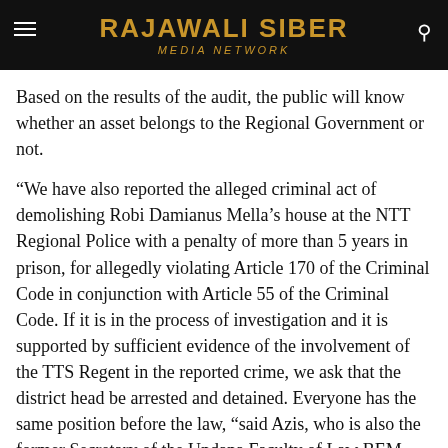RAJAWALI SIBER MEDIA NETWORK
Based on the results of the audit, the public will know whether an asset belongs to the Regional Government or not.
“We have also reported the alleged criminal act of demolishing Robi Damianus Mella’s house at the NTT Regional Police with a penalty of more than 5 years in prison, for allegedly violating Article 170 of the Criminal Code in conjunction with Article 55 of the Criminal Code. If it is in the process of investigation and it is supported by sufficient evidence of the involvement of the TTS Regent in the reported crime, we ask that the district head be arrested and detained. Everyone has the same position before the law, “said Azis, who is also the former Secretary of the Undana Faculty of Law BEM.
The public, said Azis, needed good legal education. This is important so that in the future similar violations which are committed in an inappropriate manner and which violate the